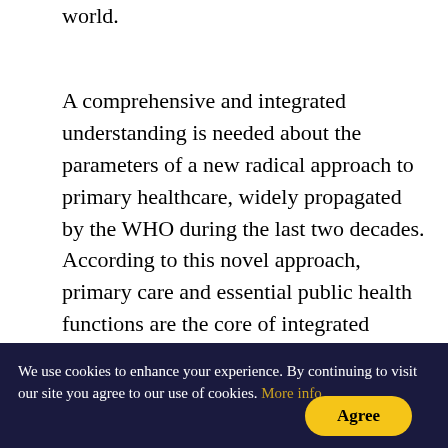world.
A comprehensive and integrated understanding is needed about the parameters of a new radical approach to primary healthcare, widely propagated by the WHO during the last two decades. According to this novel approach, primary care and essential public health functions are the core of integrated health services. Besides this, multi-sectoral policy and action, along with empowerment of people and communities, are equally important.
Comprehensive generalist physicians, commonly called family doctors, play a central role in...
We use cookies to enhance your experience. By continuing to visit our site you agree to our use of cookies. More info